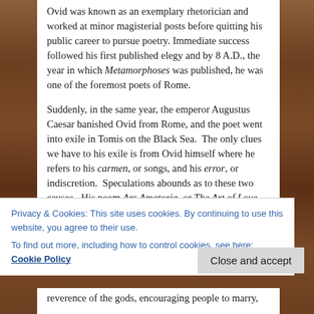Ovid was known as an exemplary rhetorician and worked at minor magisterial posts before quitting his public career to pursue poetry. Immediate success followed his first published elegy and by 8 A.D., the year in which Metamorphoses was published, he was one of the foremost poets of Rome.
Suddenly, in the same year, the emperor Augustus Caesar banished Ovid from Rome, and the poet went into exile in Tomis on the Black Sea.  The only clues we have to his exile is from Ovid himself where he refers to his carmen, or songs, and his error, or indiscretion.  Speculations abounds as to these two causes.  His poem Ars Amatoria, or The Art of Love, was a poetic
Privacy & Cookies: This site uses cookies. By continuing to use this website, you agree to their use.
To find out more, including how to control cookies, see here: Cookie Policy
Close and accept
reverence of the gods, encouraging people to marry,